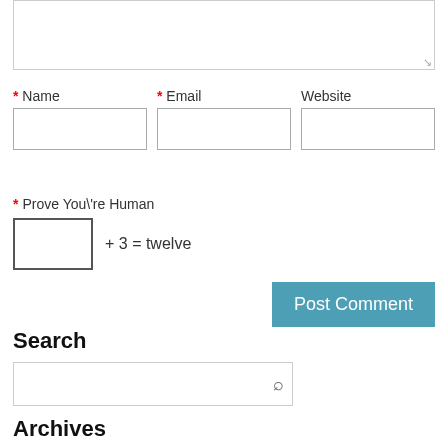* Name | * Email | Website
* Prove You\'re Human
+ 3 = twelve
Post Comment
Search
Archives